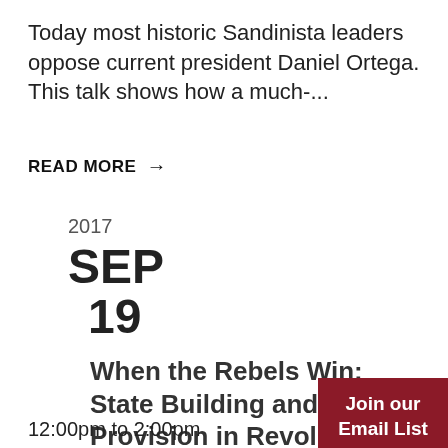Today most historic Sandinista leaders oppose current president Daniel Ortega. This talk shows how a much-...
READ MORE →
2017
SEP
19
When the Rebels Win: State Building and Service Provision in Revolutionary Nicaragua
Join our Email List
12:00pm to 2:00pm